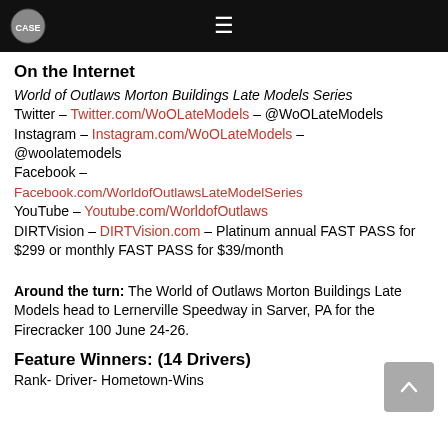≡ [logo]
On the Internet
World of Outlaws Morton Buildings Late Models Series
Twitter – Twitter.com/WoOLateModels – @WoOLateModels
Instagram – Instagram.com/WoOLateModels – @woolatemodels
Facebook – Facebook.com/WorldofOutlawsLateModelSeries
YouTube – Youtube.com/WorldofOutlaws
DIRTVision – DIRTVision.com – Platinum annual FAST PASS for $299 or monthly FAST PASS for $39/month
Around the turn: The World of Outlaws Morton Buildings Late Models head to Lernerville Speedway in Sarver, PA for the Firecracker 100 June 24-26.
Feature Winners: (14 Drivers)
Rank- Driver- Hometown-Wins